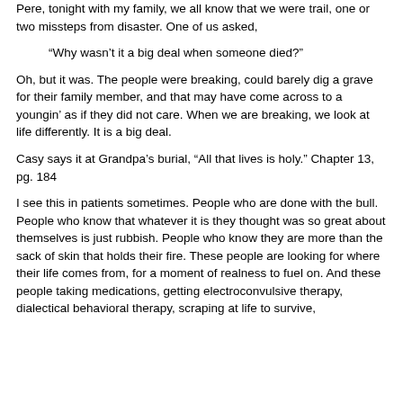Pere, tonight with my family, we all know that we were trail, one or two missteps from disaster.  One of us asked,
“Why wasn’t it a big deal when someone died?”
Oh, but it was.  The people were breaking, could barely dig a grave for their family member, and that may have come across to a youngin’ as if they did not care.  When we are breaking, we look at life differently.  It is a big deal.
Casy says it at Grandpa’s burial, “All that lives is holy.” Chapter 13, pg. 184
I see this in patients sometimes.  People who are done with the bull.  People who know that whatever it is they thought was so great about themselves is just rubbish.  People who know they are more than the sack of skin that holds their fire.  These people are looking for where their life comes from, for a moment of realness to fuel on.  And these people taking medications, getting electroconvulsive therapy, dialectical behavioral therapy, scraping at life to survive,